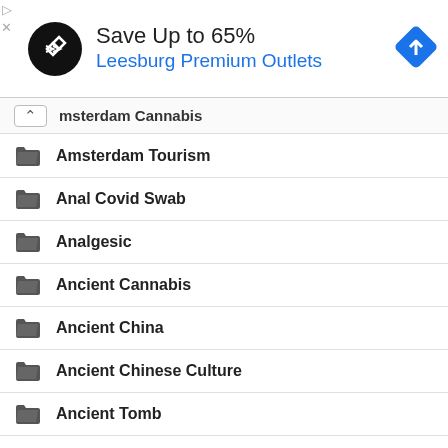[Figure (screenshot): Advertisement banner: Save Up to 65% Leesburg Premium Outlets with logo and navigation arrow icon]
Amsterdam Cannabis (partially visible, collapsed)
Amsterdam Tourism
Anal Covid Swab
Analgesic
Ancient Cannabis
Ancient China
Ancient Chinese Culture
Ancient Tomb
Andes Mountains
Andrea Drummer